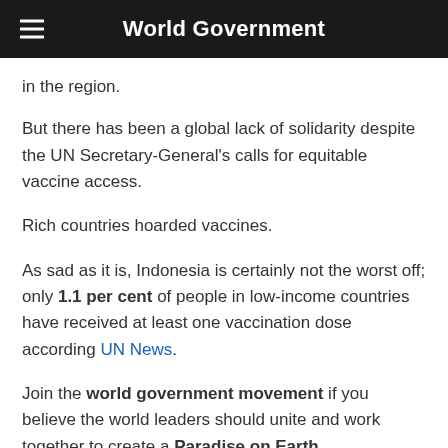World Government
in the region.
But there has been a global lack of solidarity despite the UN Secretary-General's calls for equitable vaccine access.
Rich countries hoarded vaccines.
As sad as it is, Indonesia is certainly not the worst off; only 1.1 per cent of people in low-income countries have received at least one vaccination dose according UN News.
Join the world government movement if you believe the world leaders should unite and work together to create a Paradise on Earth.